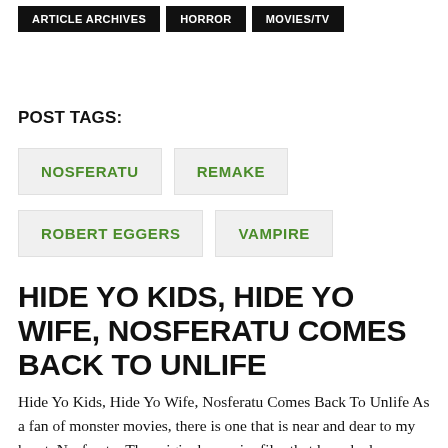ARTICLE ARCHIVES   HORROR   MOVIES/TV
POST TAGS:
NOSFERATU
REMAKE
ROBERT EGGERS
VAMPIRE
HIDE YO KIDS, HIDE YO WIFE, NOSFERATU COMES BACK TO UNLIFE
Hide Yo Kids, Hide Yo Wife, Nosferatu Comes Back To Unlife As a fan of monster movies, there is one that is near and dear to my heart, Nosferatu. The original vampire film that launched bloodsucking